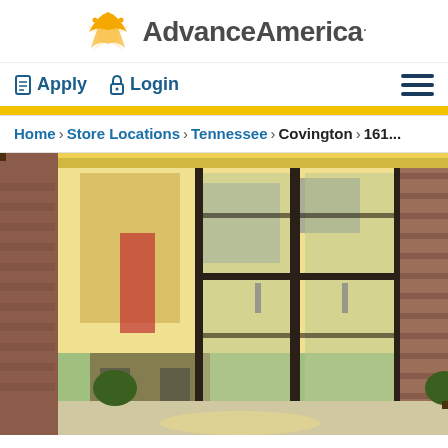Advance America
Apply  Login
Home > Store Locations > Tennessee > Covington > 161...
[Figure (photo): Exterior photo of an Advance America store location showing glass front doors, interior visible with green flooring, brick facade, plants at entrance, and parking lot with cars on the right side.]